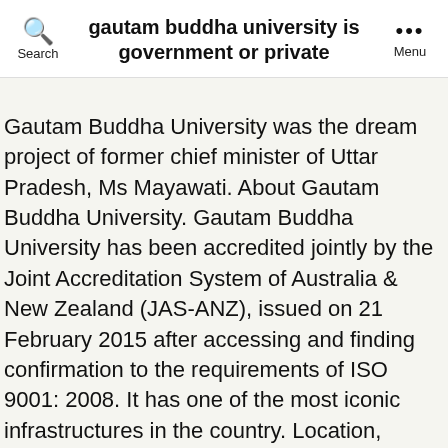gautam buddha university is government or private
Gautam Buddha University was the dream project of former chief minister of Uttar Pradesh, Ms Mayawati. About Gautam Buddha University. Gautam Buddha University has been accredited jointly by the Joint Accreditation System of Australia & New Zealand (JAS-ANZ), issued on 21 February 2015 after accessing and finding confirmation to the requirements of ISO 9001: 2008. It has one of the most iconic infrastructures in the country. Location, Location, Location. Gautam Buddha University offers the following courses at the UG, PG and Doctoral level: Read more: GBU Greater Noida Courses and Fees, Admission to the courses is based on entrance tests conducted by Gautam Buddha University or based on merit obtained in the last qualifying exam. Gautam Budh University Post Office is located at Gautam Budh University, G B Nagar, Gautam Buddha Nagar of Uttar Pradesh state. The Department has strong research